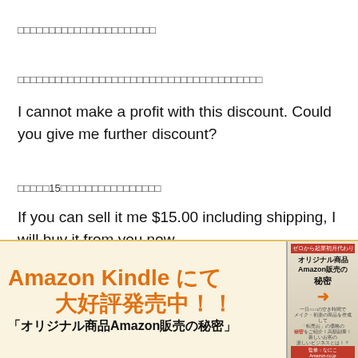□□□□□□□□□□□□□□□□□□□□□□
□□□□□□□□□□□□□□□□□□□□□□□□□□□□□□□□□□□□□□□
I cannot make a profit with this discount. Could you give me further discount?
□□□□□15□□□□□□□□□□□□□□□□
If you can sell it me $15.00 including shipping, I will buy it from you now.
[Figure (infographic): Amazon Kindle banner advertisement in Japanese. Orange bold text on cream background reads 'Amazon Kindle にて 大好評発売中!!' with subtitle '「オリジナル商品Amazon販売の秘密」'. A book cover is shown on the right side with red top and bottom bars.]